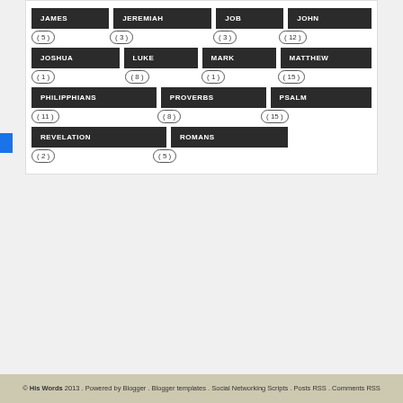JAMES (5)
JEREMIAH (3)
JOB (3)
JOHN (12)
JOSHUA (1)
LUKE (8)
MARK (1)
MATTHEW (15)
PHILIPPHIANS (11)
PROVERBS (8)
PSALM (15)
REVELATION (2)
ROMANS (5)
© His Words 2013 . Powered by Blogger . Blogger templates . Social Networking Scripts . Posts RSS . Comments RSS